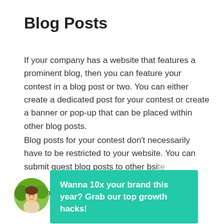Blog Posts
If your company has a website that features a prominent blog, then you can feature your contest in a blog post or two. You can either create a dedicated post for your contest or create a banner or pop-up that can be placed within other blog posts.
Blog posts for your contest don't necessarily have to be restricted to your website. You can submit guest blog posts to other bsi... help prea... nce while bringing traffic back to your website or
[Figure (illustration): Circular avatar photo of a person outdoors with foliage in background]
Wanna 10x your brand this year? Grab our top growth hacks!